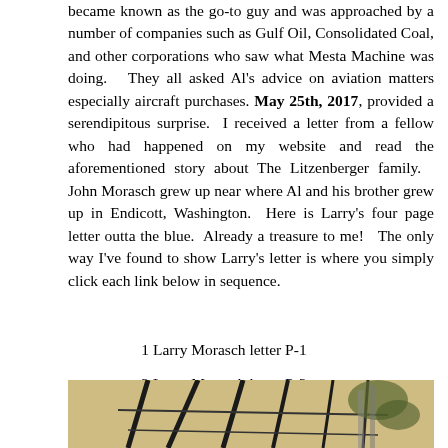became known as the go-to guy and was approached by a number of companies such as Gulf Oil, Consolidated Coal, and other corporations who saw what Mesta Machine was doing.  They all asked Al's advice on aviation matters especially aircraft purchases. May 25th, 2017, provided a serendipitous surprise.  I received a letter from a fellow who had happened on my website and read the aforementioned story about The Litzenberger family.  John Morasch grew up near where Al and his brother grew up in Endicott, Washington.  Here is Larry's four page letter outta the blue.  Already a treasure to me!  The only way I've found to show Larry's letter is where you simply click each link below in sequence.
1 Larry Morasch letter P-1
2 Larry Morasch letter P-2
3 Larry Morasch letter P-3
4 Larry Morasch P-4
[Figure (photo): Partial view of a vintage aircraft or machinery with dark structural lines against a light background]